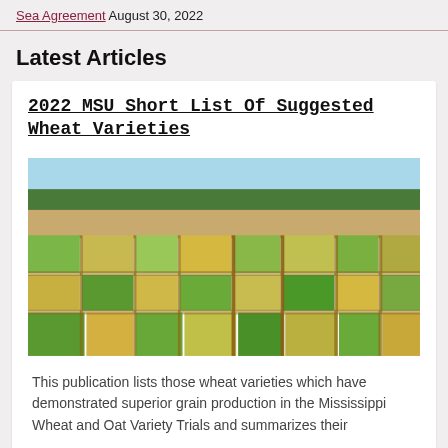Sea Agreement August 30, 2022
Latest Articles
2022 MSU Short List Of Suggested Wheat Varieties
[Figure (photo): Aerial/field-level view of wheat variety trial plots at Mississippi State University, showing multiple rectangular sections of wheat at different stages of growth and maturity, with green and golden-yellow patches arranged in a grid pattern, trees visible on the horizon under a blue sky.]
This publication lists those wheat varieties which have demonstrated superior grain production in the Mississippi Wheat and Oat Variety Trials and summarizes their